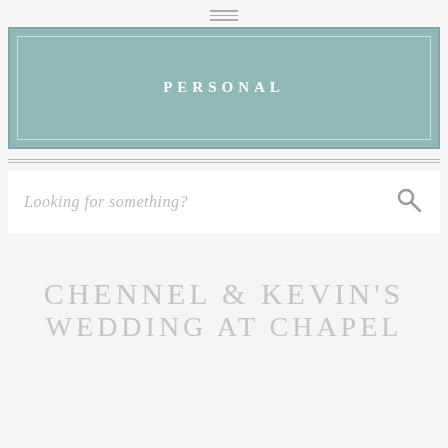hamburger menu icon
[Figure (other): Teal/sage colored banner box with double border containing the text PERSONAL in white spaced letters]
Looking for something?
CHENNEL & KEVIN'S WEDDING AT CHAPEL